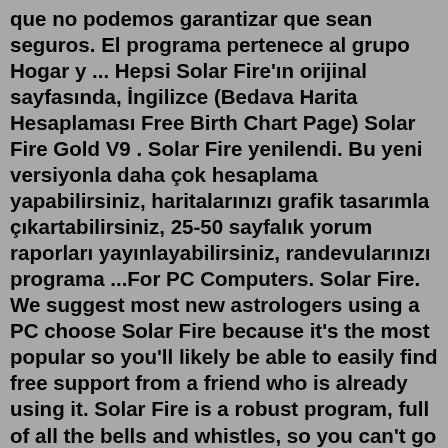que no podemos garantizar que sean seguros. El programa pertenece al grupo Hogar y ... Hepsi Solar Fire'ın orijinal sayfasında, İngilizce (Bedava Harita Hesaplaması Free Birth Chart Page) Solar Fire Gold V9 . Solar Fire yenilendi. Bu yeni versiyonla daha çok hesaplama yapabilirsiniz, haritalarınızı grafik tasarımla çıkartabilirsiniz, 25-50 sayfalık yorum raporları yayınlayabilirsiniz, randevularınızı programa ...For PC Computers. Solar Fire. We suggest most new astrologers using a PC choose Solar Fire because it's the most popular so you'll likely be able to easily find free support from a friend who is already using it. Solar Fire is a robust program, full of all the bells and whistles, so you can't go wrong with this choice. ÖNEMLİ: Eğer Solar Fire 9'a sahipseniz, bu ücretsiz güncellemeyi aşağıdaki linkten indirin lütfen. Sayfa açılınca "Solar Fire 9.0 Update to 9.0.23" yazan yere tıklayın....May 06, 2014 · SolarWinds.Engineers.Toolset.v9.2 Solar Fire 5 +Jigsaw+Reports+Solar Maps SOLIDCast v8.1.1 /v7.2.2 SolidCAST v8.2 solidThinking 8.0